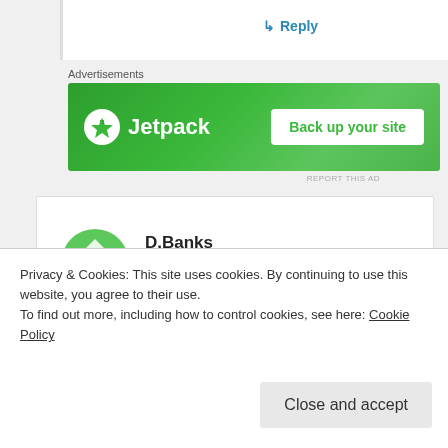↳ Reply
Advertisements
[Figure (illustration): Jetpack advertisement banner in green with logo and 'Back up your site' button]
REPORT THIS AD
[Figure (illustration): D.Banks user avatar - green geometric snowflake/diamond pattern]
D.Banks
March 6, 2016 at 21:00
I think that Channel 4 will show Qualifying and the Race delayed-as-live because adverts
Privacy & Cookies: This site uses cookies. By continuing to use this website, you agree to their use.
To find out more, including how to control cookies, see here: Cookie Policy
Close and accept